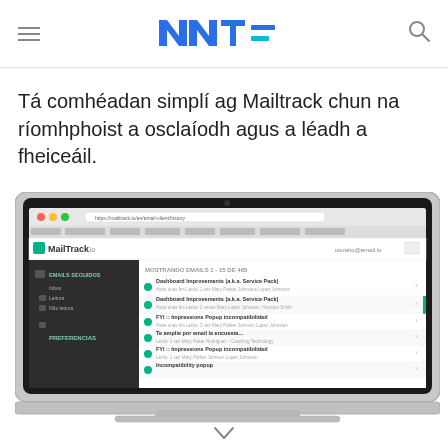NNT= (logo)
Tá comhéadan simplí ag Mailtrack chun na ríomhphoist a osclaíodh agus a léadh a fheiceáil.
[Figure (screenshot): Screenshot of MailTrack.io email tracking dashboard displayed on a MacBook laptop, showing a list of tracked emails with subject lines including 'Dashboard Improvements (a.k.a. Service Pack)' and other emails, with a sidebar showing navigation options like EMAILS SEGUIDOS, PREFERENCIAS.]